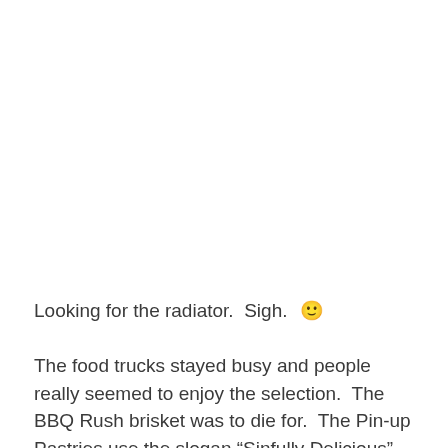Looking for the radiator.  Sigh.  🙂
The food trucks stayed busy and people really seemed to enjoy the selection.  The BBQ Rush brisket was to die for.  The Pin-up Pastries use the slogan “Sinfully Delicious” that is a tremendous understatement.  Soooo good.  Not to mention Cowboy Kettle Corn almost selling out and being